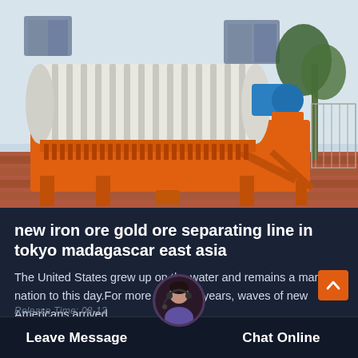[Figure (photo): Photo of a large orange industrial magnetic drum separator / ore separating machine placed outdoors on a brick surface near a white building and palm tree.]
new iron ore gold ore separating line in tokyo madagascar east asia
The United States grew up on the water and remains a maritime nation to this day.For more than 300 years, waves of new Americans arrived…
Release Time: 08-13
Leave Message
Chat Online